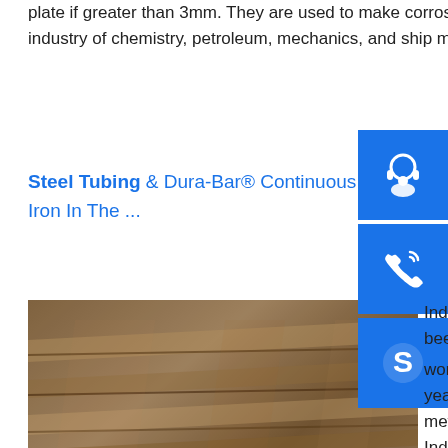plate if greater than 3mm. They are used to make corrosion-resistant parts, containers and equipments for the industry of chemistry, petroleum, mechanics, and ship manufacturing, etc. with the category and product ...
Steel Tubing & Dura-Bar® Continuous C... Iron In The ...
[Figure (photo): Stacked steel plates with rust-colored surfaces, showing industrial steel material]
Industrial Tube & Ste... been dedicated to the working industry for o... years. As a leader in metal working industr... Industrial Tube and Steel carries one of the largest in-stock inventories of steel tubing and Dura-Bar ® continuous cast iron in the Midwest. Trained and experienced in-house experts provide recommendations for ...sp.info Discount Steel – Buy Steel Tube and Pipe Online – Cut to ...Buy Metal Online – Steel Tube and Pipe